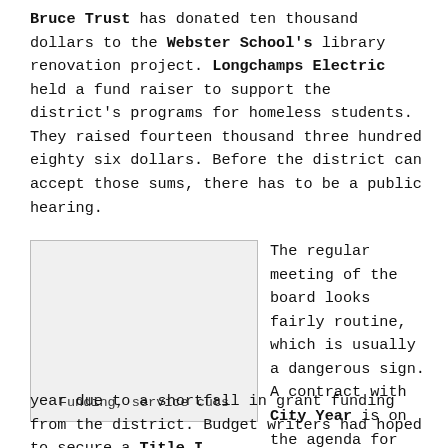Bruce Trust has donated ten thousand dollars to the Webster School's library renovation project. Longchamps Electric held a fund raiser to support the district's programs for homeless students. They raised fourteen thousand three hundred eighty six dollars. Before the district can accept those sums, there has to be a public hearing.
[Figure (photo): Empty light gray placeholder image box with caption 'Funding, service cuts']
Funding, service cuts
The regular meeting of the board looks fairly routine, which is usually a dangerous sign. A contract with City Year is on the agenda for approval. There will be fewer City Year core members working this year due to a shortfall in grant funding from the district. Budget writers had hoped to secure a Title I